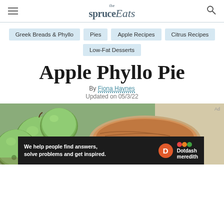the spruce Eats
Greek Breads & Phyllo
Pies
Apple Recipes
Citrus Recipes
Low-Fat Desserts
Apple Phyllo Pie
By Fiona Haynes
Updated on 05/3/22
[Figure (photo): Apple phyllo pie in a white dish with green apples on burlap background]
We help people find answers, solve problems and get inspired. Dotdash meredith